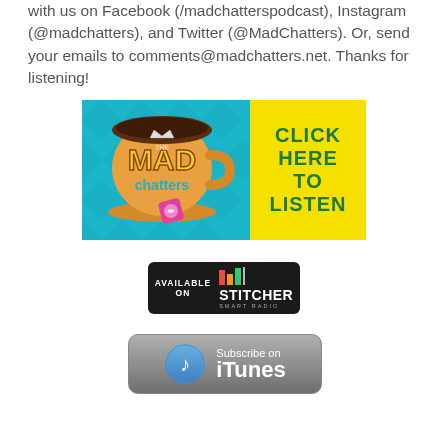with us on Facebook (/madchatterspodcast), Instagram (@madchatters), and Twitter (@MadChatters). Or, send your emails to comments@madchatters.net. Thanks for listening!
[Figure (illustration): Mad Chatters podcast banner with logo (teacup on teal diamond background) on left and 'CLICK HERE TO LISTEN' in green text on yellow background on right]
[Figure (logo): Available on Stitcher Smart Radio badge - dark background with Stitcher logo and colored bars]
[Figure (logo): Subscribe on iTunes badge - gray gradient button with iTunes music note icon]